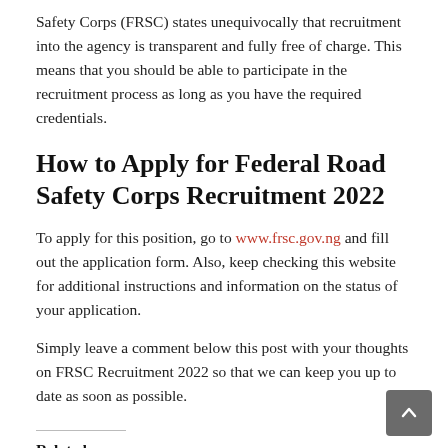Safety Corps (FRSC) states unequivocally that recruitment into the agency is transparent and fully free of charge. This means that you should be able to participate in the recruitment process as long as you have the required credentials.
How to Apply for Federal Road Safety Corps Recruitment 2022
To apply for this position, go to www.frsc.gov.ng and fill out the application form. Also, keep checking this website for additional instructions and information on the status of your application.
Simply leave a comment below this post with your thoughts on FRSC Recruitment 2022 so that we can keep you up to date as soon as possible.
Related